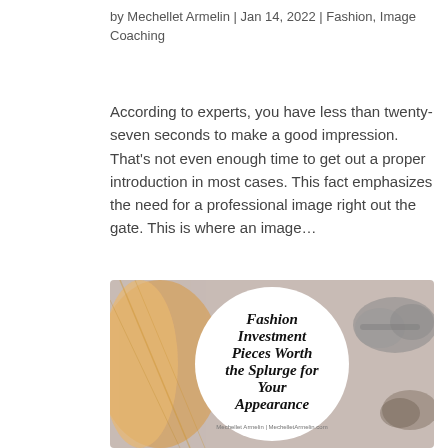by Mechellet Armelin | Jan 14, 2022 | Fashion, Image Coaching
According to experts, you have less than twenty-seven seconds to make a good impression. That’s not even enough time to get out a proper introduction in most cases. This fact emphasizes the need for a professional image right out the gate. This is where an image…
[Figure (photo): A styled flat-lay photo of fashion accessories (orange scarf, sunglasses) with a white circular overlay containing the text 'Fashion Investment Pieces Worth the Splurge for Your Appearance' by Mechellet Armelin / MechelletArmelin.com]